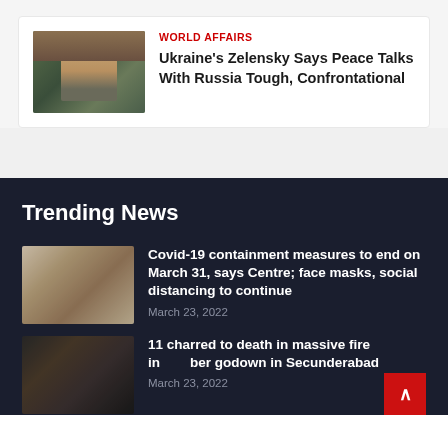WORLD AFFAIRS
Ukraine's Zelensky Says Peace Talks With Russia Tough, Confrontational
[Figure (photo): Photo of Zelensky seated at desk]
Trending News
[Figure (photo): Covid-19 related photo showing people in masks]
Covid-19 containment measures to end on March 31, says Centre; face masks, social distancing to continue
March 23, 2022
[Figure (photo): Fire scene photo showing smoke and crowd]
11 charred to death in massive fire in timber godown in Secunderabad
March 23, 2022